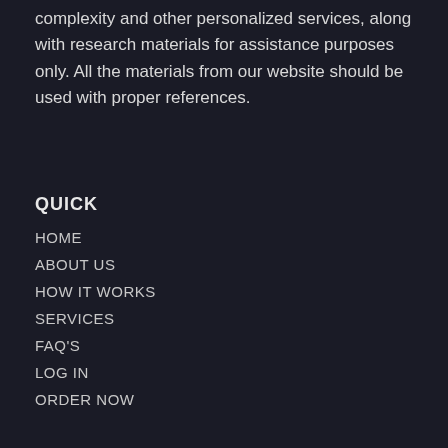complexity and other personalized services, along with research materials for assistance purposes only. All the materials from our website should be used with proper references.
QUICK
HOME
ABOUT US
HOW IT WORKS
SERVICES
FAQ'S
LOG IN
ORDER NOW